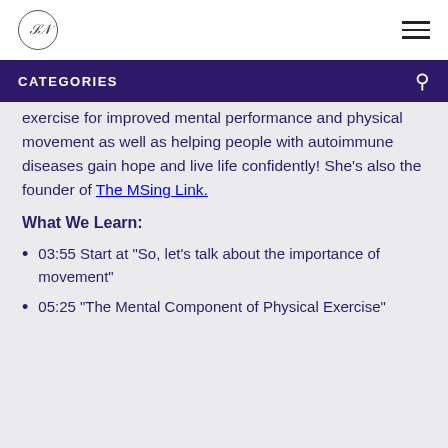[Logo: SB monogram] [Hamburger menu icon]
CATEGORIES
exercise for improved mental performance and physical movement as well as helping people with autoimmune diseases gain hope and live life confidently! She's also the founder of The MSing Link.
What We Learn:
03:55 Start at “So, let’s talk about the importance of movement”
05:25 “The Mental Component of Physical Exercise”